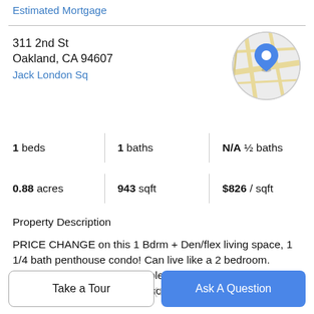Estimated Mortgage
311 2nd St
Oakland, CA 94607
Jack London Sq
[Figure (map): Circular map thumbnail showing a location pin marker over a street map of Oakland, CA]
1 beds | 1 baths | N/A ½ baths
0.88 acres | 943 sqft | $826 / sqft
Property Description
PRICE CHANGE on this 1 Bdrm + Den/flex living space, 1 1/4 bath penthouse condo! Can live like a 2 bedroom. Lucrative views at an incredible value! Luxury penthouse w/ finishes sourced outside the scope of the developer
choices, unique to the building(1) luxury engineered
Take a Tour
Ask A Question